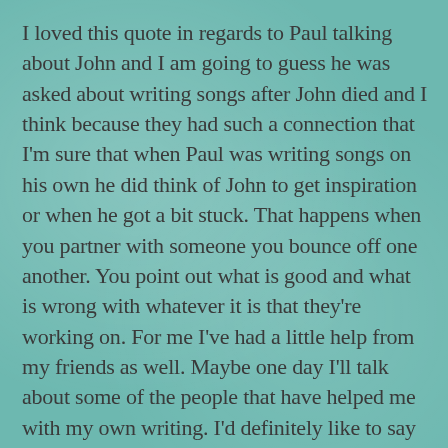I loved this quote in regards to Paul talking about John and I am going to guess he was asked about writing songs after John died and I think because they had such a connection that I'm sure that when Paul was writing songs on his own he did think of John to get inspiration or when he got a bit stuck. That happens when you partner with someone you bounce off one another. You point out what is good and what is wrong with whatever it is that they're working on. For me I've had a little help from my friends as well. Maybe one day I'll talk about some of the people that have helped me with my own writing. I'd definitely like to say that the people that I write about on a daily basis definitely have an influence on what I write that